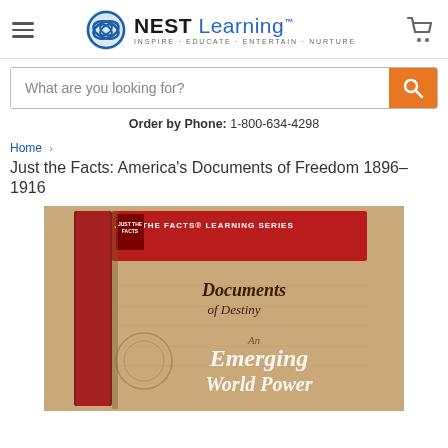[Figure (logo): NEST Learning logo with circular wave icon and tagline INSPIRE · EDUCATE · ENTERTAIN · NURTURE]
What are you looking for?
Order by Phone: 1-800-634-4298
Home > Just the Facts: America's Documents of Freedom 1896-1916
[Figure (photo): DVD box set titled 'Documents of Destiny: An Emerging World Power' from Just the Facts Learning Series]